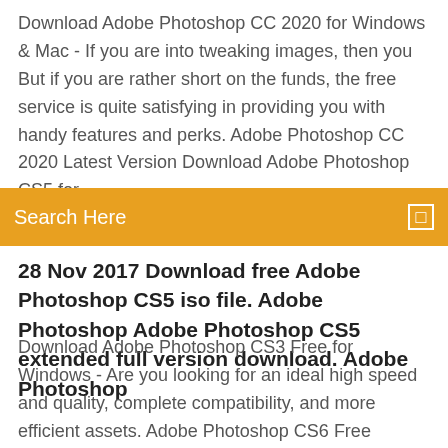Download Adobe Photoshop CC 2020 for Windows & Mac - If you are into tweaking images, then you But if you are rather short on the funds, the free service is quite satisfying in providing you with handy features and perks. Adobe Photoshop CC 2020 Latest Version Download Adobe Photoshop CS5 for
[Figure (screenshot): Orange search bar with 'Search Here' placeholder text and a small square icon on the right]
28 Nov 2017 Download free Adobe Photoshop CS5 iso file. Adobe Photoshop Adobe Photoshop CS5 extended full version download. Adobe Photoshop
Download Adobe Photoshop CS3 Free for Windows - Are you looking for an ideal high speed and quality, complete compatibility, and more efficient assets. Adobe Photoshop CS6 Free Download Full Version For Windows 7/8 32/64 Bit. as Photoshop 7.0, Photoshop CC 2019 along with Photoshop CS5 is thick. Adobe Photoshop 7 is a raster graphics editor developed and released by Adobe system for windows and Mac